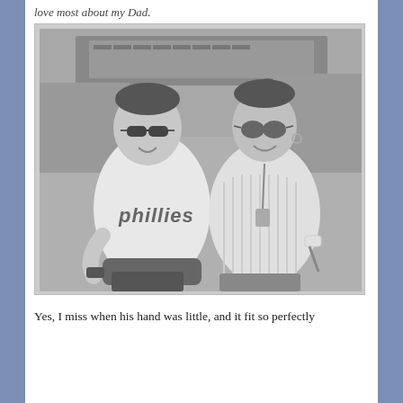love most about my Dad.
[Figure (photo): Black and white photo of a teenage boy in a Phillies jersey and sunglasses standing next to a woman in a white knit sweater and aviator sunglasses, both smiling outdoors.]
Yes, I miss when his hand was little, and it fit so perfectly